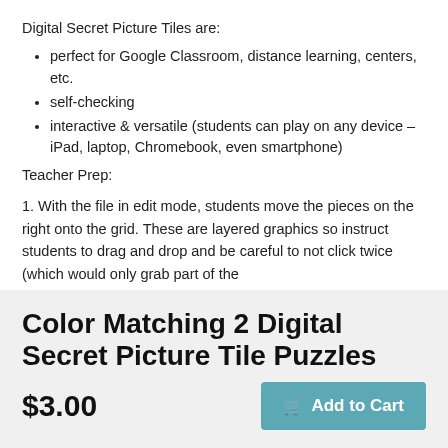Digital Secret Picture Tiles are:
perfect for Google Classroom, distance learning, centers, etc.
self-checking
interactive & versatile (students can play on any device – iPad, laptop, Chromebook, even smartphone)
Teacher Prep:
1. With the file in edit mode, students move the pieces on the right onto the grid. These are layered graphics so instruct students to drag and drop and be careful to not click twice (which would only grab part of the
Color Matching 2 Digital Secret Picture Tile Puzzles
$3.00
Add to Cart